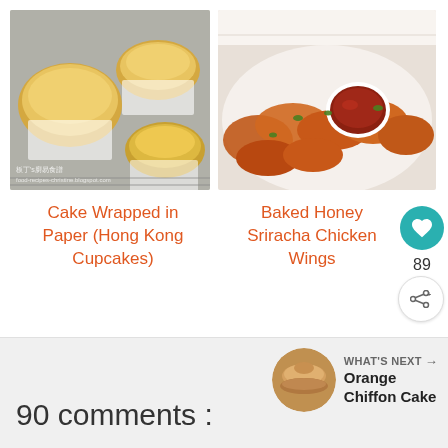[Figure (photo): Cake wrapped in paper baking in metal pans on a wire rack, golden brown color]
[Figure (photo): Baked honey sriracha chicken wings with dipping sauce and green garnish on a white plate]
Cake Wrapped in Paper (Hong Kong Cupcakes)
Baked Honey Sriracha Chicken Wings
89
WHAT'S NEXT →
Orange Chiffon Cake
[Figure (photo): Small round orange chiffon cake thumbnail]
90 comments :